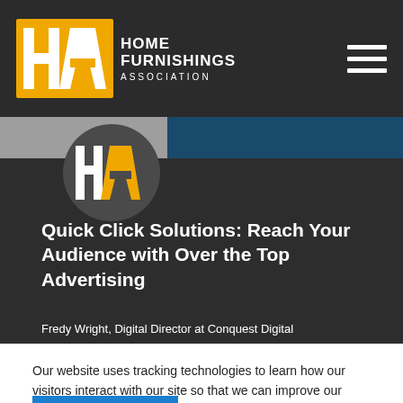HOME FURNISHINGS ASSOCIATION
[Figure (screenshot): Hero image with HFA circle logo on dark background with title 'Quick Click Solutions: Reach Your Audience with Over the Top Advertising' and author 'Fredy Wright, Digital Director at Conquest Digital']
Quick Click Solutions: Reach Your Audience with Over the Top Advertising
Fredy Wright, Digital Director at Conquest Digital
Our website uses tracking technologies to learn how our visitors interact with our site so that we can improve our services and provide you with valuable content. Disable Tracking.
OK